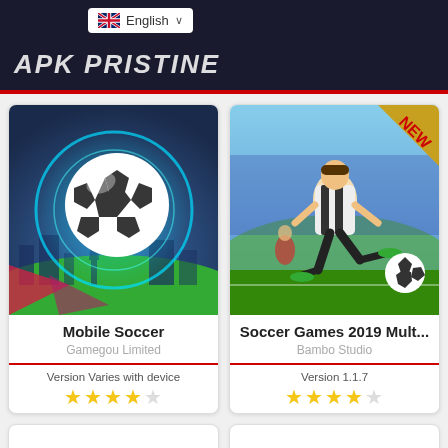APK PRISTINE
[Figure (screenshot): Mobile Soccer app icon — soccer ball with glowing ring on colorful city background]
Mobile Soccer
Gamegou Limited
Version Varies with device
★★★★☆
[Figure (screenshot): Soccer Games 2019 Mult... app icon — soccer player kicking ball in stadium with NEW banner]
Soccer Games 2019 Mult...
Bambo Studio
Version 1.1.7
★★★★☆